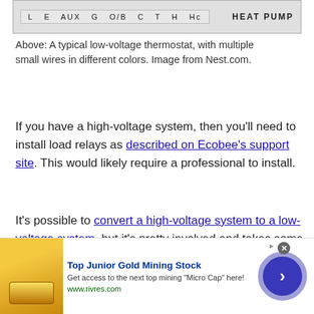[Figure (screenshot): Thermostat terminal panel showing labels: L, E, AUX, G, O/B, C, T, H, Hc and HEAT PUMP text on a gray background with a grid-like border.]
Above: A typical low-voltage thermostat, with multiple small wires in different colors. Image from Nest.com.
If you have a high-voltage system, then you'll need to install load relays as described on Ecobee's support site. This would likely require a professional to install.
It's possible to convert a high-voltage system to a low-voltage system, but it's pretty involved and takes some know-how, so if you absolutely want to install a smart thermostat of some kind, it might be best to call a professional to convert your system. Furthermore, this might be beneficial to do anyway, since most (if not all)
[Figure (screenshot): Advertisement banner: Top Junior Gold Mining Stock. Get access to the next top mining 'Micro Cap' here! www.rivres.com. Shows gold bars image on left and a blue circle arrow button on right.]